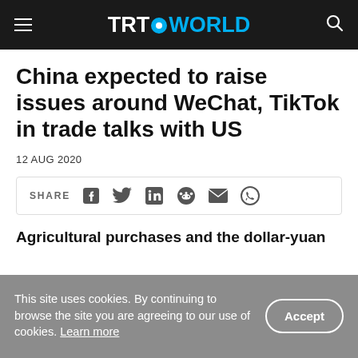TRT WORLD
China expected to raise issues around WeChat, TikTok in trade talks with US
12 AUG 2020
[Figure (infographic): Social share bar with icons for Facebook, Twitter, LinkedIn, Reddit, Email, WhatsApp]
Agricultural purchases and the dollar-yuan
This site uses cookies. By continuing to browse the site you are agreeing to our use of cookies. Learn more